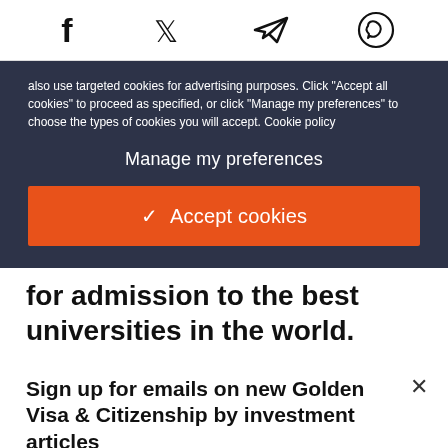[Figure (other): Social sharing icons row: Facebook (f), Twitter (bird), Telegram (paper plane), WhatsApp (phone)]
also use targeted cookies for advertising purposes. Click "Accept all cookies" to proceed as specified, or click "Manage my preferences" to choose the types of cookies you will accept. Cookie policy
Manage my preferences
✓ Accept cookies
for admission to the best universities in the world.
Sign up for emails on new Golden Visa & Citizenship by investment articles
Email